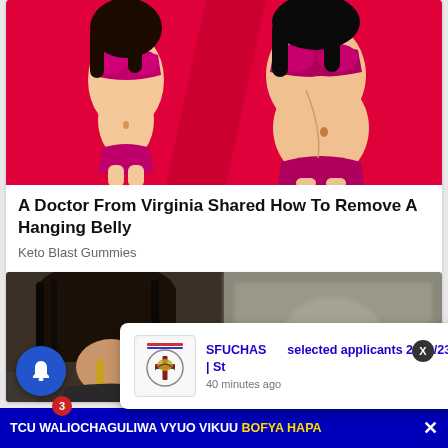[Figure (illustration): Cartoon illustration of two female figures in bikinis on red background. Left figure has slim belly, right figure has hanging/larger belly. Used as advertisement image.]
A Doctor From Virginia Shared How To Remove A Hanging Belly
Keto Blast Gummies
[Figure (photo): Two side-by-side photos showing back of neck/neck area (left) and a blurred image (right). Bottom section ad image.]
[Figure (logo): SFUCHAS institution logo with cross symbol]
SFUCHAS selected applicants 2022/23 | St
40 minutes ago
TCU WALIOCHAGULIWA VYUO VIKUU BOFYA HAPA